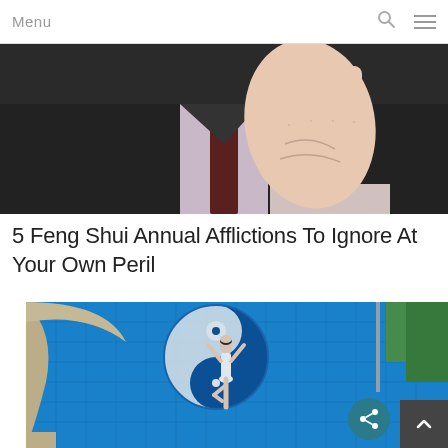Menu
[Figure (photo): A person in a dark business suit holding up one hand (palm facing viewer, stop gesture), wearing a dark tie, photographed from chest level up. White background.]
5 Feng Shui Annual Afflictions To Ignore At Your Own Peril
[Figure (photo): Aerial view of a swimming pool with a yin-yang symbol mosaic tile pattern on the pool floor. A woman in a white bikini is doing a yoga tree pose in the pool. The pool is surrounded by stone/tile decking and green shrubs. A teal share button and dark grey back-to-top button are overlaid in the bottom-right corner.]